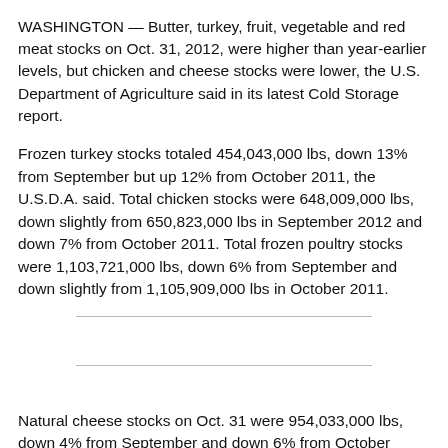WASHINGTON — Butter, turkey, fruit, vegetable and red meat stocks on Oct. 31, 2012, were higher than year-earlier levels, but chicken and cheese stocks were lower, the U.S. Department of Agriculture said in its latest Cold Storage report.
Frozen turkey stocks totaled 454,043,000 lbs, down 13% from September but up 12% from October 2011, the U.S.D.A. said. Total chicken stocks were 648,009,000 lbs, down slightly from 650,823,000 lbs in September 2012 and down 7% from October 2011. Total frozen poultry stocks were 1,103,721,000 lbs, down 6% from September and down slightly from 1,105,909,000 lbs in October 2011.
Natural cheese stocks on Oct. 31 were 954,033,000 lbs, down 4% from September and down 6% from October 2011. Butter